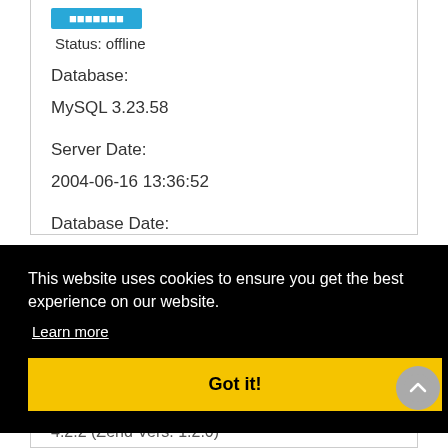Status: offline
Database:
MySQL 3.23.58
Server Date:
2004-06-16 13:36:52
Database Date:
This website uses cookies to ensure you get the best experience on our website.
Learn more
Got it!
4.2.2 (Zend Vers. 1.2.0)